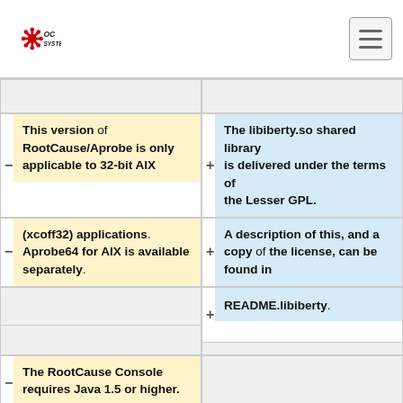OC SYSTEMS
This version of RootCause/Aprobe is only applicable to 32-bit AIX
The libiberty.so shared library is delivered under the terms of the Lesser GPL.
(xcoff32) applications. Aprobe64 for AIX is available separately.
A description of this, and a copy of the license, can be found in
README.libiberty.
The RootCause Console requires Java 1.5 or higher.
RootCause Intercept
Libelf.so
--------------------
---------
The RootCause "intercept"
This version of RootCause